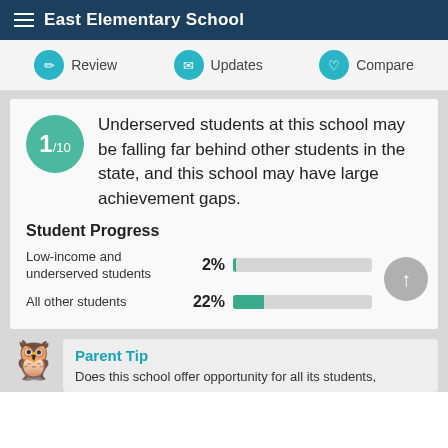East Elementary School
Review | Updates | Compare
1/10 Underserved students at this school may be falling far behind other students in the state, and this school may have large achievement gaps.
Student Progress
[Figure (bar-chart): Student Progress]
Parent Tip
Does this school offer opportunity for all its students,